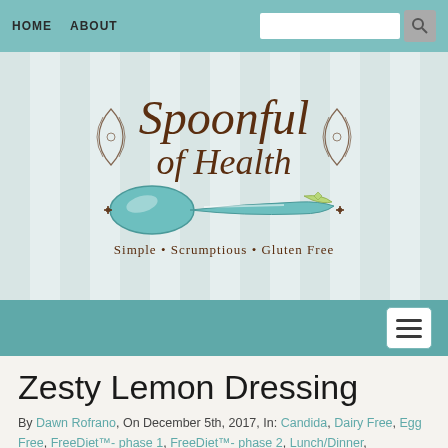HOME   ABOUT
[Figure (logo): Spoonful of Health logo with decorative spoon and text: Simple • Scrumptious • Gluten Free]
Zesty Lemon Dressing
By Dawn Rofrano, On December 5th, 2017, In: Candida, Dairy Free, Egg Free, FreeDiet™- phase 1, FreeDiet™- phase 2, Lunch/Dinner, Paleo/Grain Free, Raw, Vegan
12-14 Servings